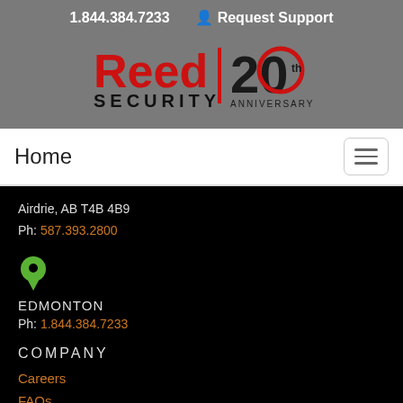1.844.384.7233   Request Support
[Figure (logo): Reed Security 20th Anniversary logo on grey background]
Home
Airdrie, AB T4B 4B9
Ph: 587.393.2800
[Figure (illustration): Green map pin / location icon]
EDMONTON
Ph: 1.844.384.7233
COMPANY
Careers
FAQs
Policies
Latest News